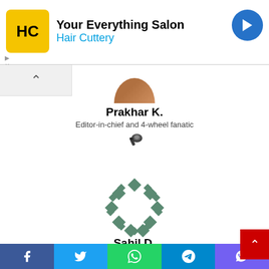[Figure (infographic): Hair Cuttery advertisement banner with yellow logo, navigation arrow icon, and 'Your Everything Salon' tagline]
[Figure (photo): Circular profile photo of Prakhar K., partially visible at top]
Prakhar K.
Editor-in-chief and 4-wheel fanatic
[Figure (illustration): Steam gaming platform icon/logo]
[Figure (illustration): Teal diamond ring decorative avatar icon for Sahil D.]
Sahil D.
Love sleeping, video games and aviation, but F1 is life! I'm addicted
[Figure (infographic): Social share bar with Facebook, Twitter, WhatsApp, Telegram, and Viber buttons]